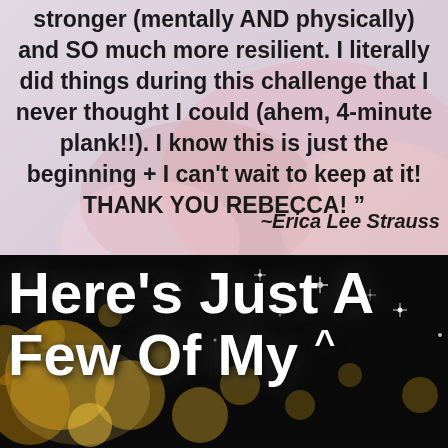stronger (mentally AND physically) and SO much more resilient. I literally did things during this challenge that I never thought I could (ahem, 4-minute plank!!). I know this is just the beginning + I can't wait to keep at it! THANK YOU REBECCA! ”
~Erica Lee Strauss
[Figure (photo): Dark bokeh background with gold and white glowing circles/sparkles on black, with large white bold handwritten-style text reading HERE'S JUST A FEW OF MY]